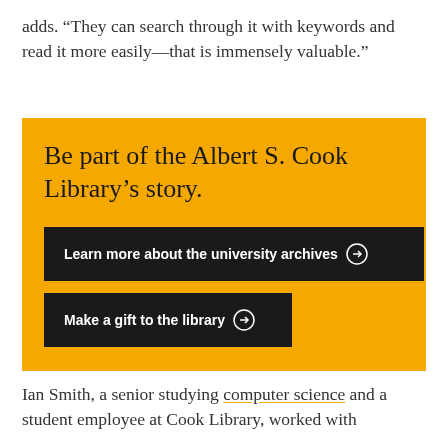adds. “They can search through it with keywords and read it more easily—that is immensely valuable.”
Be part of the Albert S. Cook Library’s story.
Learn more about the university archives →
Make a gift to the library →
Ian Smith, a senior studying computer science and a student employee at Cook Library, worked with